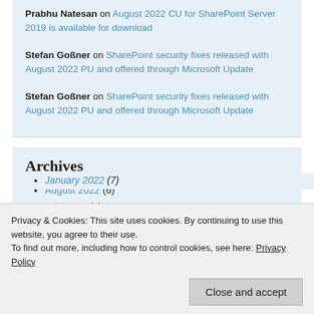Prabhu Natesan on August 2022 CU for SharePoint Server 2019 is available for download
Stefan Goßner on SharePoint security fixes released with August 2022 PU and offered through Microsoft Update
Stefan Goßner on SharePoint security fixes released with August 2022 PU and offered through Microsoft Update
Archives
August 2022 (6)
July 2022 (4)
January 2022 (7)
Privacy & Cookies: This site uses cookies. By continuing to use this website, you agree to their use. To find out more, including how to control cookies, see here: Privacy Policy
Close and accept